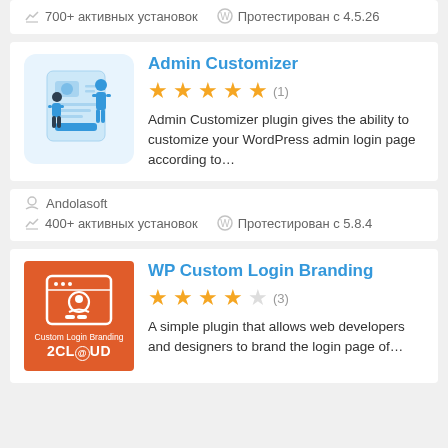700+ активных установок   Протестирован с 4.5.26
Admin Customizer
[Figure (illustration): Illustration of two people interacting with an admin/login UI panel]
★★★★★ (1)
Admin Customizer plugin gives the ability to customize your WordPress admin login page according to...
Andolasoft
400+ активных установок   Протестирован с 5.8.4
WP Custom Login Branding
[Figure (logo): Orange square logo with browser window icon and user avatar, labeled 'Custom Login Branding 2CLOUD']
★★★★☆ (3)
A simple plugin that allows web developers and designers to brand the login page of...